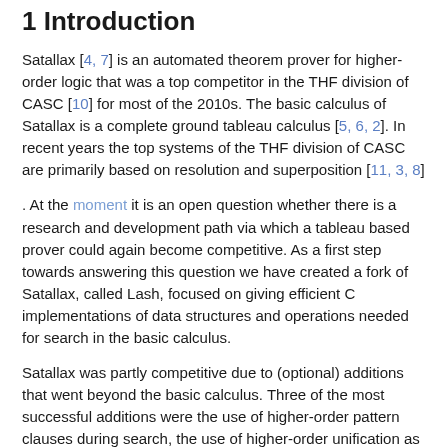1 Introduction
Satallax [4, 7] is an automated theorem prover for higher-order logic that was a top competitor in the THF division of CASC [10] for most of the 2010s. The basic calculus of Satallax is a complete ground tableau calculus [5, 6, 2]. In recent years the top systems of the THF division of CASC are primarily based on resolution and superposition [11, 3, 8]
. At the moment it is an open question whether there is a research and development path via which a tableau based prover could again become competitive. As a first step towards answering this question we have created a fork of Satallax, called Lash, focused on giving efficient C implementations of data structures and operations needed for search in the basic calculus.
Satallax was partly competitive due to (optional) additions that went beyond the basic calculus. Three of the most successful additions were the use of higher-order pattern clauses during search, the use of higher-order unification as a heuristic to suggest instantiations at function types and the use of the first-order theorem prover E as a